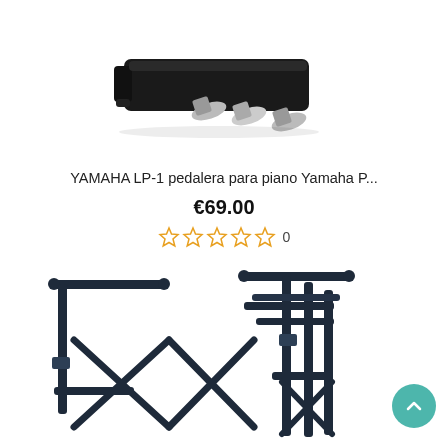[Figure (photo): Photo of a YAMAHA LP-1 piano pedal unit, black rectangular body with three silver/chrome foot pedals, viewed from the side on a white background.]
YAMAHA LP-1 pedalera para piano Yamaha P...
€69.00
☆ ☆ ☆ ☆ ☆ 0
[Figure (photo): Photo of a dark navy/black folding keyboard stand (X-style scissor stand) with adjustable height, shown partially folded and from the side, on a white background.]